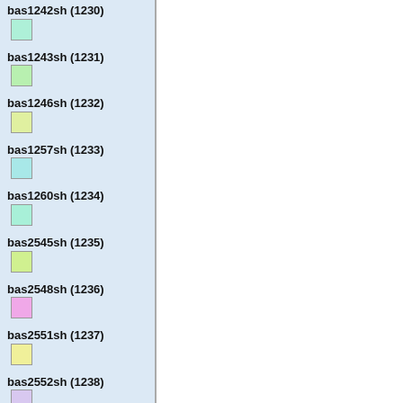bas1242sh (1230)
bas1243sh (1231)
bas1246sh (1232)
bas1257sh (1233)
bas1260sh (1234)
bas2545sh (1235)
bas2548sh (1236)
bas2551sh (1237)
bas2552sh (1238)
bas2553sh (1239)